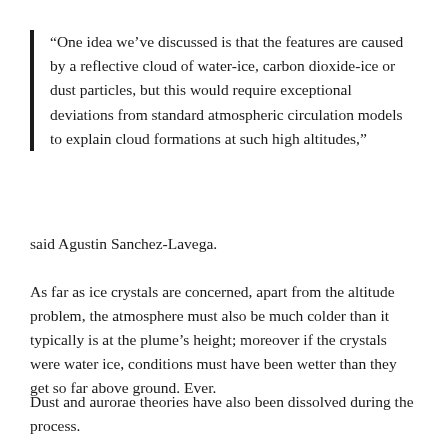“One idea we’ve discussed is that the features are caused by a reflective cloud of water-ice, carbon dioxide-ice or dust particles, but this would require exceptional deviations from standard atmospheric circulation models to explain cloud formations at such high altitudes,”
said Agustin Sanchez-Lavega.
As far as ice crystals are concerned, apart from the altitude problem, the atmosphere must also be much colder than it typically is at the plume’s height; moreover if the crystals were water ice, conditions must have been wetter than they get so far above ground. Ever.
Dust and aurorae theories have also been dissolved during the process.